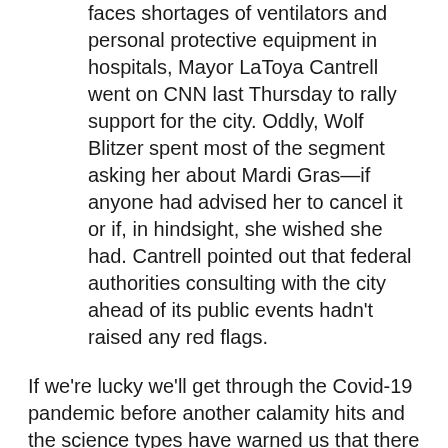faces shortages of ventilators and personal protective equipment in hospitals, Mayor LaToya Cantrell went on CNN last Thursday to rally support for the city. Oddly, Wolf Blitzer spent most of the segment asking her about Mardi Gras—if anyone had advised her to cancel it or if, in hindsight, she wished she had. Cantrell pointed out that federal authorities consulting with the city ahead of its public events hadn't raised any red flags.
If we're lucky we'll get through the Covid-19 pandemic before another calamity hits and the science types have warned us that there are several catastrophes that await, locked and loaded. They've warned us that the day will come when we're confronted not just by one of these disasters but two, perhaps three, at the same time. What then?
What we need to understand is that we can no longer wait for the disaster to happen and then respond to it. We have to prepare for catastrophes well in advance. Preparedness is a choice but we have to recognize to remain unprepared, vulnerable is also a choice.